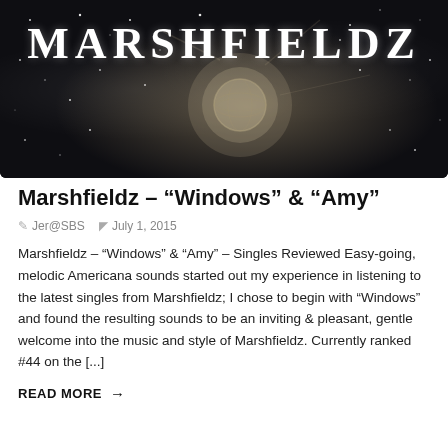[Figure (illustration): Dark space/galaxy banner image with stars and a glowing spherical object, with the text MARSHFIELDZ overlaid in large serif font at the top]
Marshfieldz – “Windows” & “Amy”
Jer@SBS   July 1, 2015
Marshfieldz – “Windows” & “Amy” – Singles Reviewed Easy-going, melodic Americana sounds started out my experience in listening to the latest singles from Marshfieldz; I chose to begin with “Windows” and found the resulting sounds to be an inviting & pleasant, gentle welcome into the music and style of Marshfieldz. Currently ranked #44 on the [...]
READ MORE →